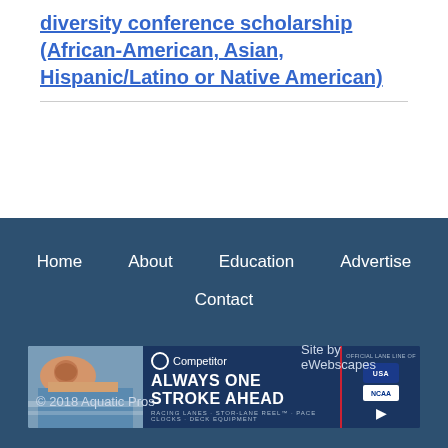diversity conference scholarship (African-American, Asian, Hispanic/Latino or Native American)
[Figure (screenshot): Competitor lane line advertisement banner: swimmer photo on left, 'Competitor ALWAYS ONE STROKE AHEAD' text in center, USA Swimming and NCAA logos on right]
Home  About  Education  Advertise  Contact
© 2018 Aquatic Pros
Site by eWebscapes